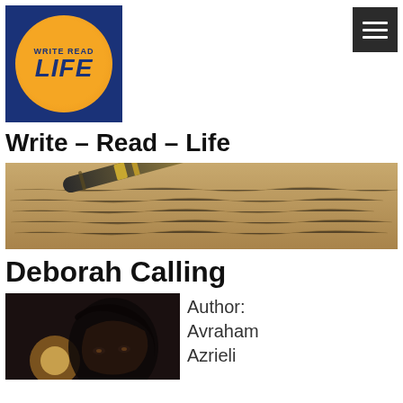[Figure (logo): Write Read Life logo: blue square background with orange circle containing italic bold text 'WRITE READ LIFE']
[Figure (other): Hamburger menu icon: dark square with three white horizontal lines]
Write – Read – Life
[Figure (photo): Close-up photo of a gold fountain pen nib resting on handwritten cursive text on aged paper]
Deborah Calling
[Figure (photo): Book cover or portrait photo showing a woman's face with dark hair and dramatic lighting]
Author: Avraham Azrieli